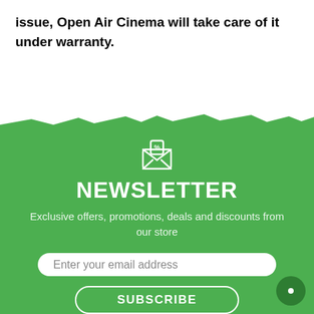issue, Open Air Cinema will take care of it under warranty.
[Figure (illustration): Newsletter signup section with green background, envelope icon with percent sign, NEWSLETTER heading, subtitle text, email input field, and SUBSCRIBE button]
NEWSLETTER
Exclusive offers, promotions, deals and discounts from our store
Enter your email address
SUBSCRIBE